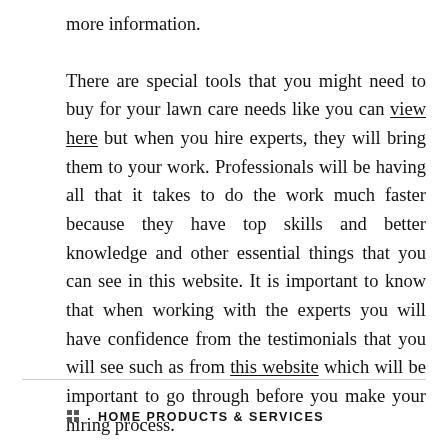more information.
There are special tools that you might need to buy for your lawn care needs like you can view here but when you hire experts, they will bring them to your work. Professionals will be having all that it takes to do the work much faster because they have top skills and better knowledge and other essential things that you can see in this website. It is important to know that when working with the experts you will have confidence from the testimonials that you will see such as from this website which will be important to go through before you make your hiring process.
HOME PRODUCTS & SERVICES